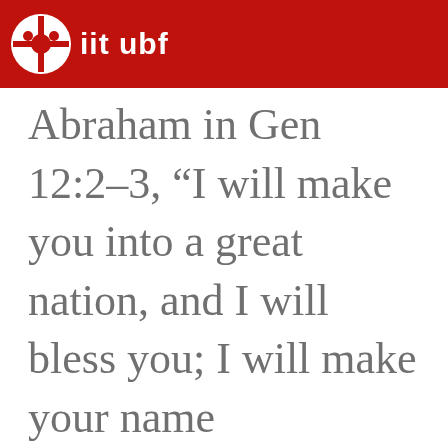iit ubf
Abraham in Gen 12:2-3, “I will make you into a great nation, and I will bless you; I will make your name